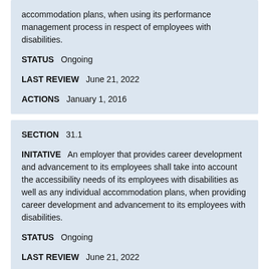accommodation plans, when using its performance management process in respect of employees with disabilities.
STATUS   Ongoing
LAST REVIEW   June 21, 2022
ACTIONS   January 1, 2016
SECTION   31.1
INITATIVE   An employer that provides career development and advancement to its employees shall take into account the accessibility needs of its employees with disabilities as well as any individual accommodation plans, when providing career development and advancement to its employees with disabilities.
STATUS   Ongoing
LAST REVIEW   June 21, 2022
ACTIONS   See 30.1 Actions.